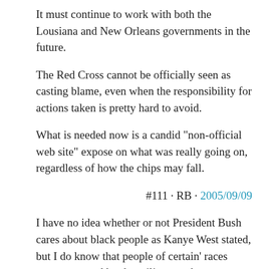It must continue to work with both the Lousiana and New Orleans governments in the future.
The Red Cross cannot be officially seen as casting blame, even when the responsibility for actions taken is pretty hard to avoid.
What is needed now is a candid "non-official web site" expose on what was really going on, regardless of how the chips may fall.
#111 · RB · 2005/09/09
I have no idea whether or not President Bush cares about black people as Kanye West stated, but I do know that people of certain' races were protected by the military at the Superdome and smuggled out under cover of darkness. This has been openly reported in the BBC news, but I have never heard this mentioned in any US reports: